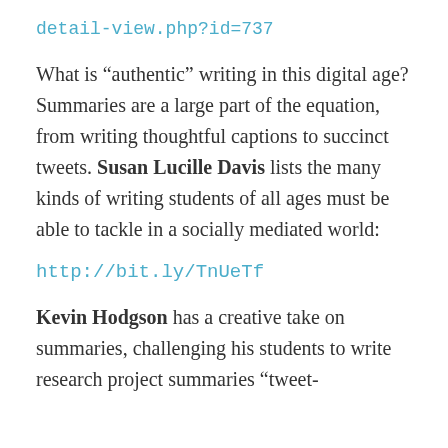detail-view.php?id=737
What is “authentic” writing in this digital age? Summaries are a large part of the equation, from writing thoughtful captions to succinct tweets. Susan Lucille Davis lists the many kinds of writing students of all ages must be able to tackle in a socially mediated world:
http://bit.ly/TnUeTf
Kevin Hodgson has a creative take on summaries, challenging his students to write research project summaries “tweet-